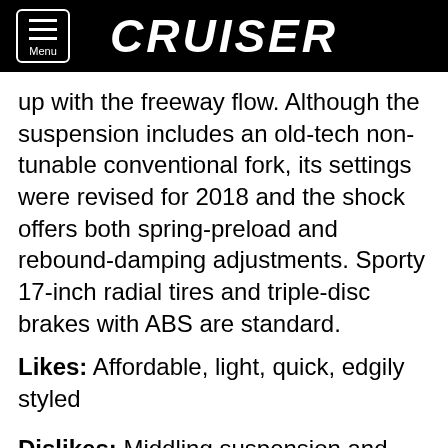CRUISER
up with the freeway flow. Although the suspension includes an old-tech non-tunable conventional fork, its settings were revised for 2018 and the shock offers both spring-preload and rebound-damping adjustments. Sporty 17-inch radial tires and triple-disc brakes with ABS are standard.
Likes: Affordable, light, quick, edgily styled
Dislikes: Middling suspension and